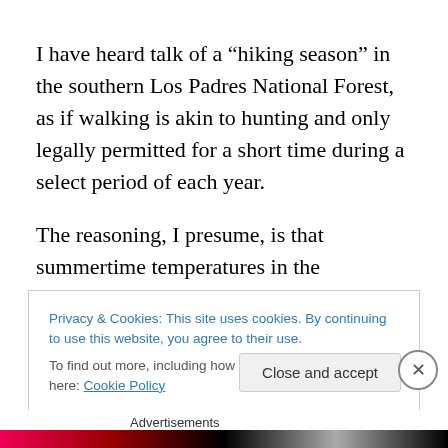I have heard talk of a “hiking season” in the southern Los Padres National Forest, as if walking is akin to hunting and only legally permitted for a short time during a select period of each year.
The reasoning, I presume, is that summertime temperatures in the backcountry tend to be hot, in the nineties and upwards of one hundred. The land and creeks and rivers are dry or stagnant. The forest is
Privacy & Cookies: This site uses cookies. By continuing to use this website, you agree to their use.
To find out more, including how to control cookies, see here: Cookie Policy
Close and accept
Advertisements